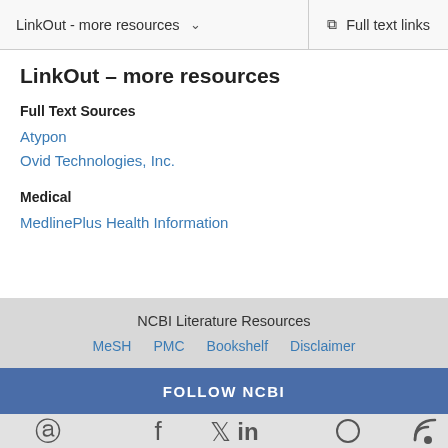LinkOut - more resources   Full text links
LinkOut – more resources
Full Text Sources
Atypon
Ovid Technologies, Inc.
Medical
MedlinePlus Health Information
NCBI Literature Resources  MeSH  PMC  Bookshelf  Disclaimer
FOLLOW NCBI